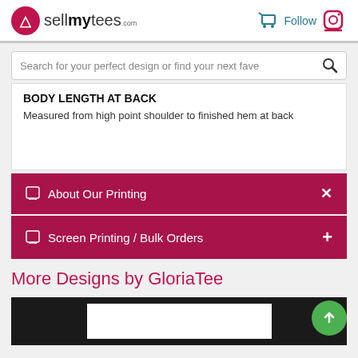sellmytees.com
Search for your perfect design or find your next fave
BODY LENGTH AT BACK
Measured from high point shoulder to finished hem at back
About Our Printing ×
Screen Printing / Bulk Orders +
More Designs by GloriaTee
[Figure (screenshot): Bottom image strip showing partial product image on dark background]